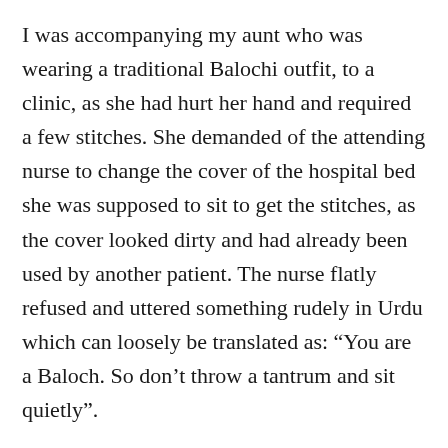I was accompanying my aunt who was wearing a traditional Balochi outfit, to a clinic, as she had hurt her hand and required a few stitches. She demanded of the attending nurse to change the cover of the hospital bed she was supposed to sit to get the stitches, as the cover looked dirty and had already been used by another patient. The nurse flatly refused and uttered something rudely in Urdu which can loosely be translated as: “You are a Baloch. So don’t throw a tantrum and sit quietly”.
The nurse’s demeaning attitude towards the Baloch people made my aunt’s blood boil; she refused to receive any treatment from the clinic despite being in